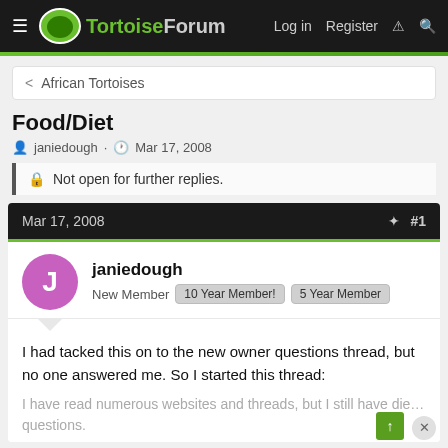TortoiseForum — Log in  Register
< African Tortoises
Food/Diet
janiedough · Mar 17, 2008
Not open for further replies.
Mar 17, 2008  #1
janiedough
New Member  10 Year Member!  5 Year Member
I had tacked this on to the new owner questions thread, but no one answered me. So I started this thread:
I have read numerous websites and threads, but I still have diet questions.